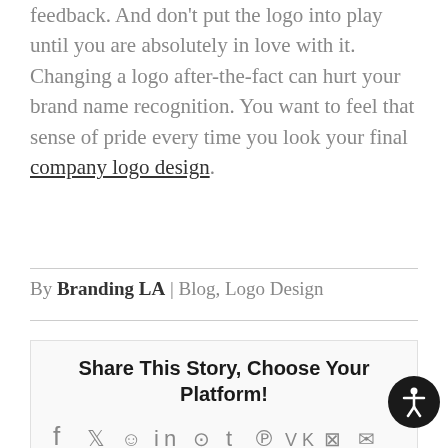feedback. And don't put the logo into play until you are absolutely in love with it. Changing a logo after-the-fact can hurt your brand name recognition. You want to feel that sense of pride every time you look your final company logo design.
By Branding LA | Blog, Logo Design
Share This Story, Choose Your Platform!
[Figure (infographic): Row of social media sharing icons: Facebook, Twitter, Reddit, LinkedIn, WhatsApp, Tumblr, Pinterest, VK, Xing, Email]